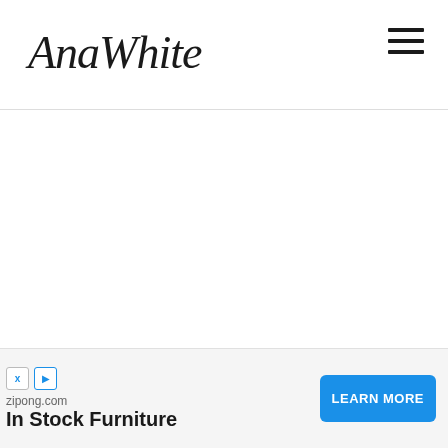AnaWhite
[Figure (logo): AnaWhite handwritten script logo in top left, hamburger menu icon (three horizontal lines) in top right]
[Figure (screenshot): Large white/blank content area below the header]
zipong.com
In Stock Furniture
LEARN MORE